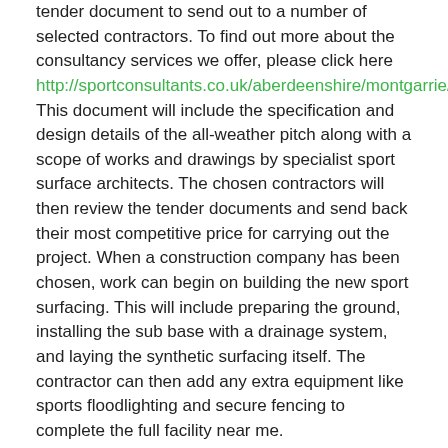tender document to send out to a number of selected contractors. To find out more about the consultancy services we offer, please click here http://sportconsultants.co.uk/aberdeenshire/montgarrie/ This document will include the specification and design details of the all-weather pitch along with a scope of works and drawings by specialist sport surface architects. The chosen contractors will then review the tender documents and send back their most competitive price for carrying out the project. When a construction company has been chosen, work can begin on building the new sport surfacing. This will include preparing the ground, installing the sub base with a drainage system, and laying the synthetic surfacing itself. The contractor can then add any extra equipment like sports floodlighting and secure fencing to complete the full facility near me.
Sports Pitch Consultants in Montgarrie
Throughout the installation process, all-weather pitch consultants will carry out site visits and regular meetings to check the progress and make sure that all work has been carried out in accordance with relevant safety requirements. After the new sport facility